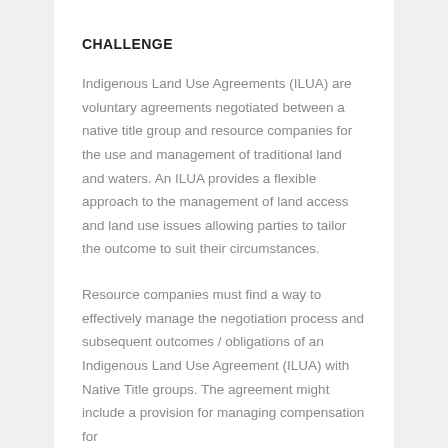CHALLENGE
Indigenous Land Use Agreements (ILUA) are voluntary agreements negotiated between a native title group and resource companies for the use and management of traditional land and waters. An ILUA provides a flexible approach to the management of land access and land use issues allowing parties to tailor the outcome to suit their circumstances.
Resource companies must find a way to effectively manage the negotiation process and subsequent outcomes / obligations of an Indigenous Land Use Agreement (ILUA) with Native Title groups. The agreement might include a provision for managing compensation for